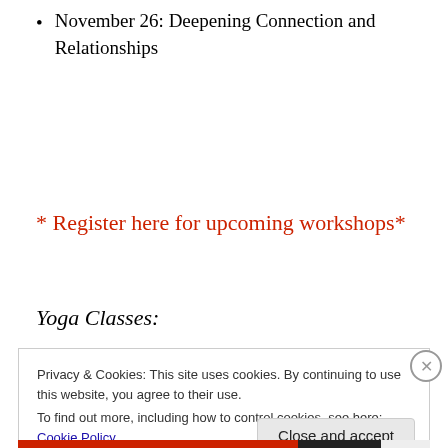November 26: Deepening Connection and Relationships
* Register here for upcoming workshops*
Yoga Classes:
Privacy & Cookies: This site uses cookies. By continuing to use this website, you agree to their use. To find out more, including how to control cookies, see here: Cookie Policy